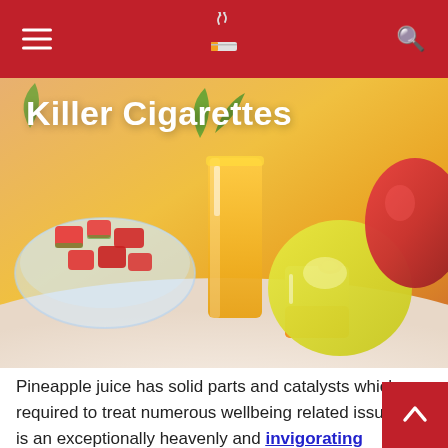Killer Cigarettes — site header with hamburger menu and search icon
[Figure (photo): Hero photograph of fresh fruits and juices: watermelon chunks in a bowl, orange juice glass, a layered orange and cream drink, yellow melon/guava, mango, with warm orange background lighting]
Killer Cigarettes
Pineapple juice has solid parts and catalysts which are required to treat numerous wellbeing related issues. It is an exceptionally heavenly and invigorating beverage. You should be not kidding about a solid eating routine and exercise. The sweet and harsh juice of pineapple will add an additional advantage to your eating regimen.